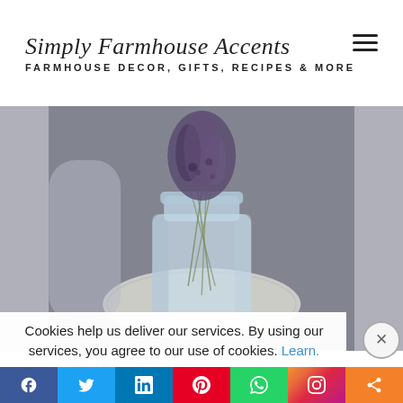Simply Farmhouse Accents — FARMHOUSE DECOR, GIFTS, RECIPES & MORE
[Figure (photo): Close-up photo of a glass mason jar filled with dried lavender sprigs, sitting on a lace doily on a rustic wooden surface.]
All different kinds of glass jars can be used as
Cookies help us deliver our services. By using our services, you agree to our use of cookies. Learn.
Social share bar: Facebook, Twitter, LinkedIn, Pinterest, WhatsApp, Instagram, Share